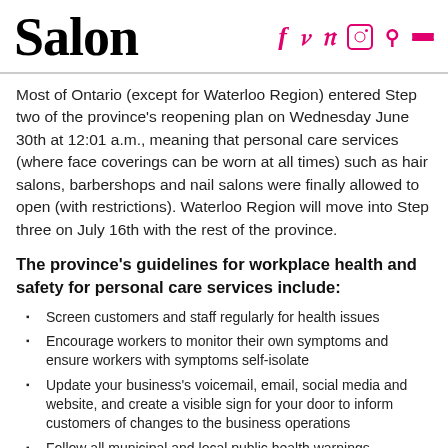Salon
Most of Ontario (except for Waterloo Region) entered Step two of the province's reopening plan on Wednesday June 30th at 12:01 a.m., meaning that personal care services (where face coverings can be worn at all times) such as hair salons, barbershops and nail salons were finally allowed to open (with restrictions). Waterloo Region will move into Step three on July 16th with the rest of the province.
The province's guidelines for workplace health and safety for personal care services include:
Screen customers and staff regularly for health issues
Encourage workers to monitor their own symptoms and ensure workers with symptoms self-isolate
Update your business's voicemail, email, social media and website, and create a visible sign for your door to inform customers of changes to the business operations
Follow all municipal and local public health warnings, directions and recommendations related to COVID-19